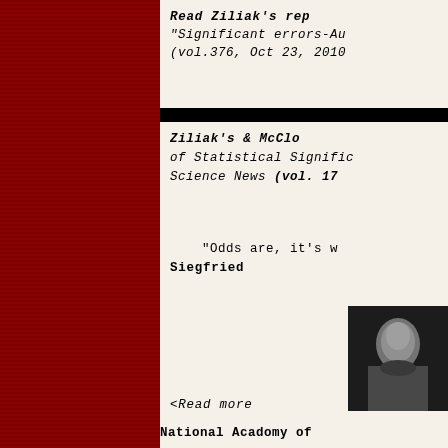Read Ziliak's rep
"Significant errors-Au
(vol.376, Oct 23, 2010
Ziliak's & McClo
of Statistical Signific
Science News (vol. 17
"Odds are, it's w
Siegfried
[Figure (photo): Black and white photograph, partial view]
<Read more
National Acadomy of